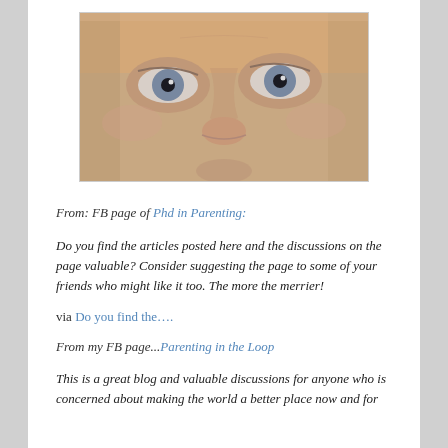[Figure (photo): Close-up photograph of a baby's face showing blue-gray eyes, nose, and upper lip area with pinkish skin tone]
From: FB page of Phd in Parenting:
Do you find the articles posted here and the discussions on the page valuable? Consider suggesting the page to some of your friends who might like it too. The more the merrier!
via Do you find the….
From my FB page...Parenting in the Loop
This is a great blog and valuable discussions for anyone who is concerned about making the world a better place now and for...